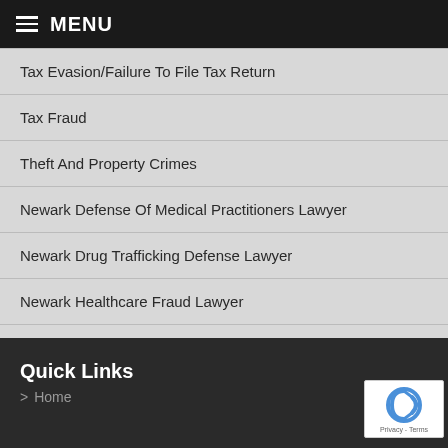MENU
Tax Evasion/Failure To File Tax Return
Tax Fraud
Theft And Property Crimes
Newark Defense Of Medical Practitioners Lawyer
Newark Drug Trafficking Defense Lawyer
Newark Healthcare Fraud Lawyer
Newark White Collar Crime Lawyer
Quick Links
Home